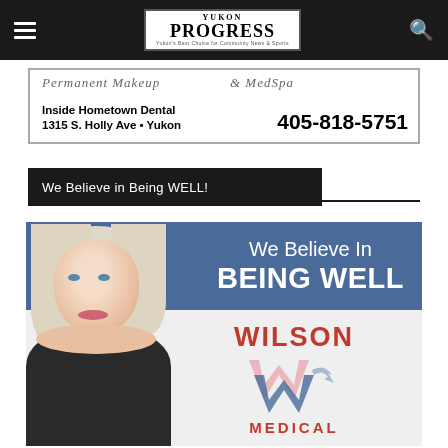Yukon Progress — navigation bar with hamburger menu and search icon
[Figure (advertisement): Ad for Permanent Makeup & MedSpa, Inside Hometown Dental, 1315 S. Holly Ave • Yukon, 405-818-5751]
We Believe in Being WELL!
[Figure (advertisement): Wilson Medical advertisement with woman and text: We Believe In BEING WELL, Wilson Medical logo]